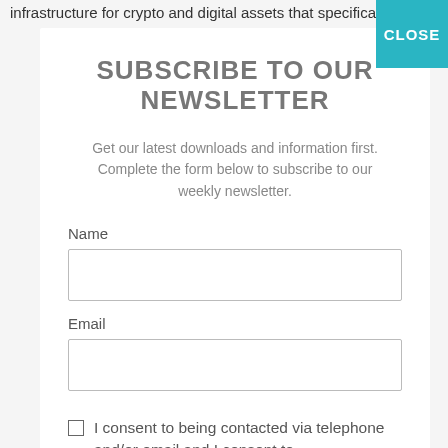infrastructure for crypto and digital assets that specifically aligns
SUBSCRIBE TO OUR NEWSLETTER
Get our latest downloads and information first. Complete the form below to subscribe to our weekly newsletter.
Name
Email
I consent to being contacted via telephone and/or email and I consent to